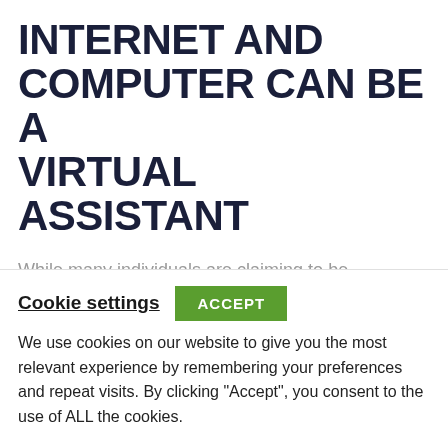INTERNET AND COMPUTER CAN BE A VIRTUAL ASSISTANT
While many individuals are claiming to be Professional Virtual Assistants over the internet, the fact is not everyone can do justice to the tasks. It's always easier said than done. A lot of them lack the skill to harness the whole output. It happens mostly with freelancers as it gets tough to find their
Cookie settings
We use cookies on our website to give you the most relevant experience by remembering your preferences and repeat visits. By clicking "Accept", you consent to the use of ALL the cookies.